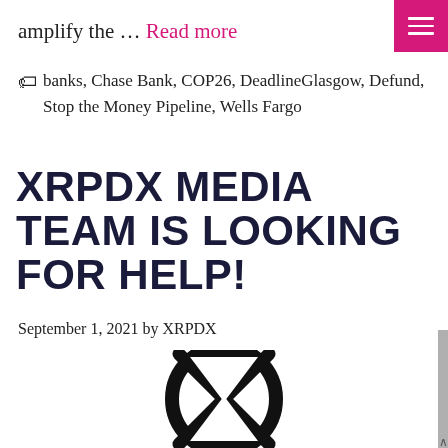amplify the … Read more
banks, Chase Bank, COP26, DeadlineGlasgow, Defund, Stop the Money Pipeline, Wells Fargo
XRPDX MEDIA TEAM IS LOOKING FOR HELP!
September 1, 2021 by XRPDX
[Figure (logo): Extinction Rebellion hourglass logo — a circle with an hourglass shape inside, rendered in black and white]